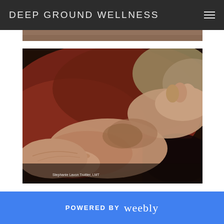DEEP GROUND WELLNESS
[Figure (photo): Close-up photo of massage therapist hands performing massage on a client's arm/body. Warm reddish-brown tones. Caption reads: Stephanie Lavon Trottier, LMT]
POWERED BY weebly